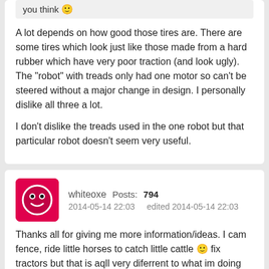you think 🙂
A lot depends on how good those tires are. There are some tires which look just like those made from a hard rubber which have very poor traction (and look ugly). The "robot" with treads only had one motor so can't be steered without a major change in design. I personally dislike all three a lot.

I don't dislike the treads used in the one robot but that particular robot doesn't seem very useful.
whiteoxe  Posts: 794
2014-05-14 22:03   edited 2014-05-14 22:03
Thanks all for giving me more information/ideas. I cam fence, ride little horses to catch little cattle 🙂 fix tractors but that is aqll very diferrent to what im doing now. 🙂

My 1 year older brother is in twown for a few months, he